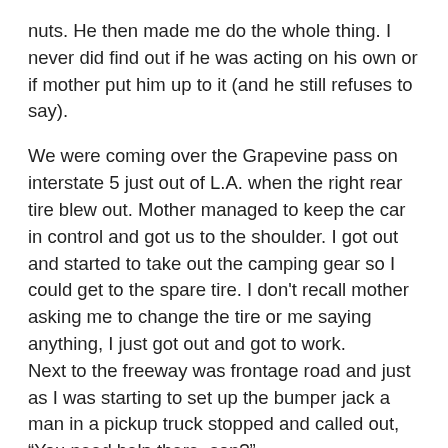nuts.  He then made me do the whole thing.  I never did find out if he was acting on his own or if mother put him up to it (and he still refuses to say).
We were coming over the Grapevine pass on interstate 5 just out of L.A. when the right rear tire blew out.  Mother managed to keep the car in control and got us to the shoulder.  I got out and started to take out the camping gear so I could get to the spare tire.  I don't recall mother asking me to change the tire or me saying anything, I just got out and got to work.
Next to the freeway was frontage road and just as I was starting to set up the bumper jack a man in a pickup truck stopped and called out, “You need help there, son?”
“No Thanks,” I called back